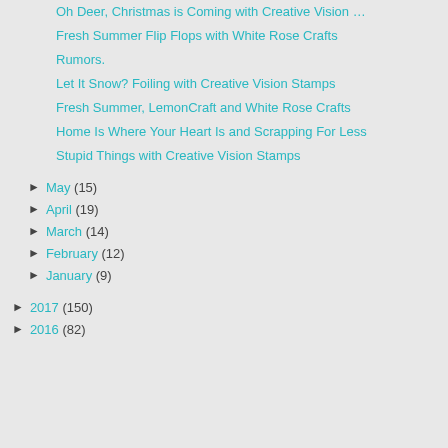Oh Deer, Christmas is Coming with Creative Vision …
Fresh Summer Flip Flops with White Rose Crafts
Rumors.
Let It Snow? Foiling with Creative Vision Stamps
Fresh Summer, LemonCraft and White Rose Crafts
Home Is Where Your Heart Is and Scrapping For Less
Stupid Things with Creative Vision Stamps
► May (15)
► April (19)
► March (14)
► February (12)
► January (9)
► 2017 (150)
► 2016 (82)